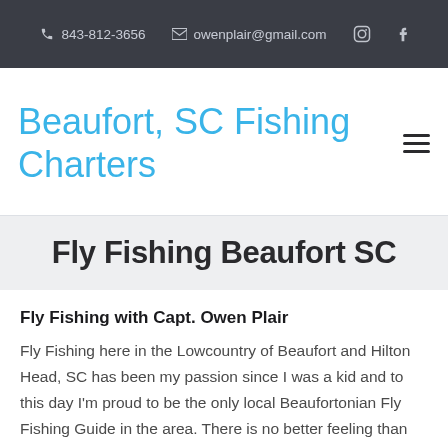843-812-3656  owenplair@gmail.com
Beaufort, SC Fishing Charters
Fly Fishing Beaufort SC
Fly Fishing with Capt. Owen Plair
Fly Fishing here in the Lowcountry of Beaufort and Hilton Head, SC has been my passion since I was a kid and to this day I'm proud to be the only local Beaufortonian Fly Fishing Guide in the area. There is no better feeling than